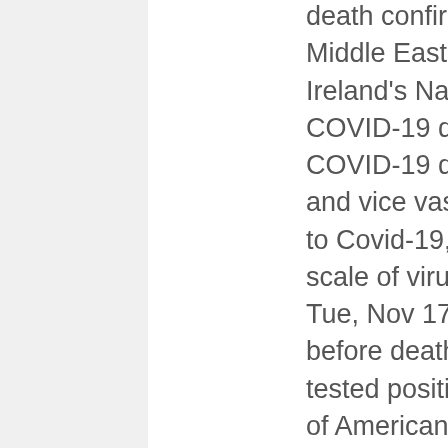death confirmation Is a 2019 News Story Emerging in the Middle East? RTÉ.ie is the website of Raidió Teilifis Éireann, Ireland's National Public Service Media. For example, a COVID-19 death value meeting the above criteria will have the COVID-19 death and total death values re-assigned as null, and vice vasa. Three nursing homes reported 89 deaths linked to Covid-19, Hiqa reports find Watchdog inspections show scale of virus outbreaks and multiple deaths at care homes Tue, Nov 17, 2020, 11:21 And the average length of stay before death was just under 14 months. All those who died had tested positive for the virus. Current statistics indicate that 24% of Americans die each year in a nursing home. It underscored the fact that New Jersey has the most coronavirus-related nursing home deaths per capita in the country – about 45% of its more than 17,000 confirmed cases. There has been a small increase in that number since then, including an expert in infection prevention and control. Nursing home outbreak brings 11 COVID deaths ... we have seen that nursing home outbreaks are seeded by the spread in the community," he said. Last Flu Season Was Deadliest for Nursing Home Residents During the 2017-2018 flu season, an estimated 80,000 Americans died and 900,000 were